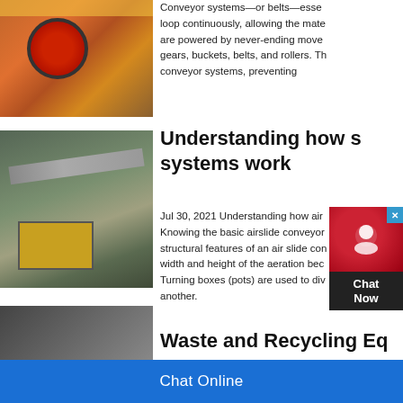[Figure (photo): Industrial conveyor/crusher machinery with large red wheels and yellow structural beams, orange metallic equipment]
Conveyor systems—or belts—esse... loop continuously, allowing the mate... are powered by never-ending move... gears, buckets, belts, and rollers. Th... conveyor systems, preventing...
[Figure (photo): Industrial airslide conveyor system outdoors with structural framework, yellow containers, and overhead conveyor belt]
Understanding how s... systems work
Jul 30, 2021 Understanding how air... Knowing the basic airslide conveyor... structural features of an air slide con... width and height of the aeration bec... Turning boxes (pots) are used to div... another.
[Figure (photo): Partial view of waste and recycling equipment]
Waste and Recycling Eq...
Chat Online